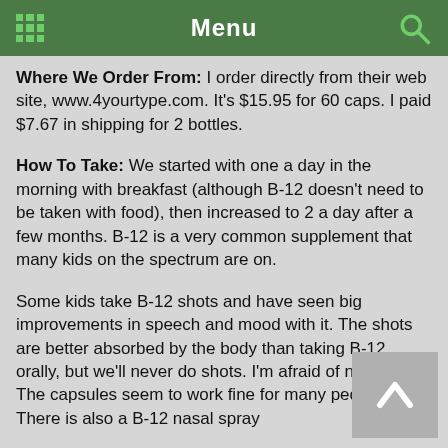Menu
Where We Order From: I order directly from their web site, www.4yourtype.com. It's $15.95 for 60 caps. I paid $7.67 in shipping for 2 bottles.
How To Take: We started with one a day in the morning with breakfast (although B-12 doesn't need to be taken with food), then increased to 2 a day after a few months. B-12 is a very common supplement that many kids on the spectrum are on.
Some kids take B-12 shots and have seen big improvements in speech and mood with it. The shots are better absorbed by the body than taking B-12 orally, but we'll never do shots. I'm afraid of needles! The capsules seem to work fine for many people. There is also a B-12 nasal spray